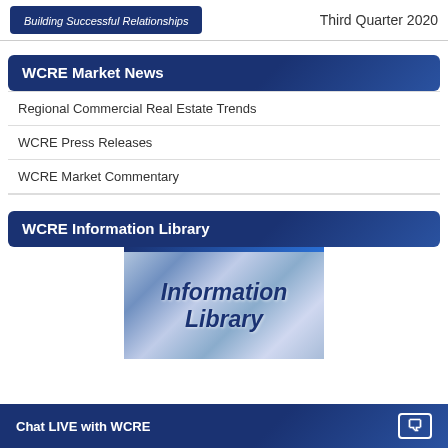Building Successful Relationships   Third Quarter 2020
WCRE Market News
Regional Commercial Real Estate Trends
WCRE Press Releases
WCRE Market Commentary
WCRE Information Library
[Figure (illustration): Information Library graphic with blue collage background showing text 'Information Library']
Chat LIVE with WCRE